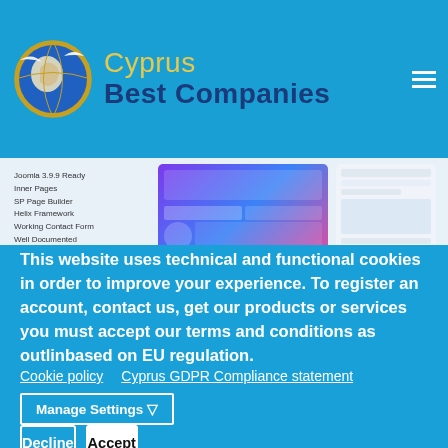[Figure (logo): Cyprus Best Companies logo with golden globe icon and text]
[Figure (screenshot): Website template screenshot showing mockup cards with purple/pink gradients, UI feature list on left, pink arc decoration, and ID: 25571483]
This website uses technical and functional cookies in order to improve your experience. To register an account, contact us, get our products or services you must accept our terms and conditions as outlinbased on EU regulation.
Cookie policy    Cyprus GDPR Compliance statement
Manage Settings ▽
Decline
Accept